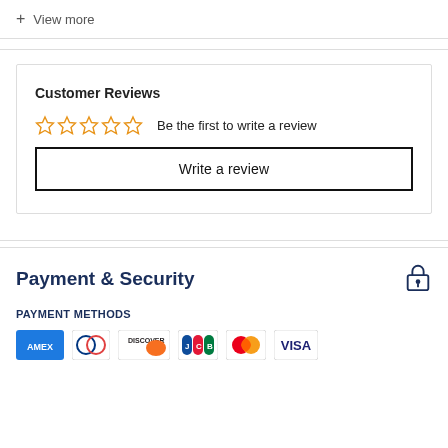+ View more
Customer Reviews
☆☆☆☆☆ Be the first to write a review
Write a review
Payment & Security
PAYMENT METHODS
[Figure (other): Payment method logos: AMEX, Diners Club, Discover, JCB, Mastercard, Visa]